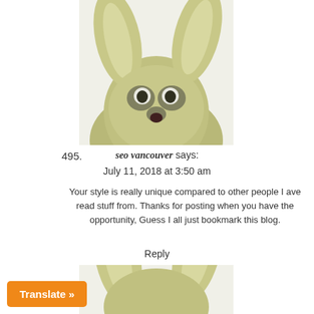[Figure (photo): Top portion of a blurry stuffed animal or puppet resembling a bunny/kangaroo with large ears and a surprised face, cropped at the top of the page]
495.
seo vancouver says:
July 11, 2018 at 3:50 am
Your style is really unique compared to other people I ave read stuff from. Thanks for posting when you have the opportunity, Guess I all just bookmark this blog.
Reply
[Figure (photo): Bottom portion of same blurry stuffed animal or puppet, partially visible at the bottom of the page]
Translate »